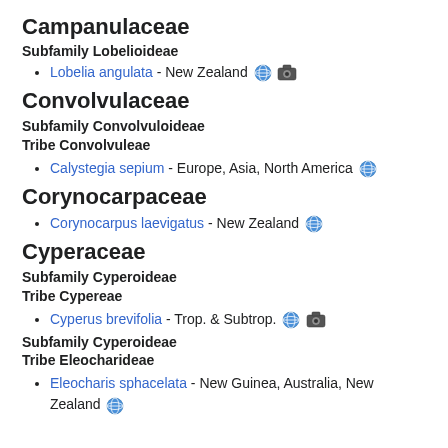Campanulaceae
Subfamily Lobelioideae
Lobelia angulata - New Zealand 🌐 📷
Convolvulaceae
Subfamily Convolvuloideae
Tribe Convolvuleae
Calystegia sepium - Europe, Asia, North America 🌐
Corynocarpaceae
Corynocarpus laevigatus - New Zealand 🌐
Cyperaceae
Subfamily Cyperoideae
Tribe Cypereae
Cyperus brevifolia - Trop. & Subtrop. 🌐 📷
Subfamily Cyperoideae
Tribe Eleocharideae
Eleocharis sphacelata - New Guinea, Australia, New Zealand 🌐